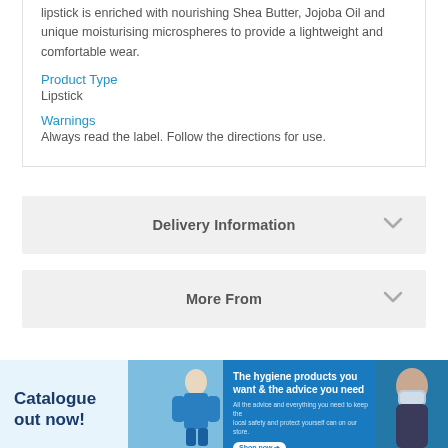lipstick is enriched with nourishing Shea Butter, Jojoba Oil and unique moisturising microspheres to provide a lightweight and comfortable wear.
Product Type
Lipstick
Warnings
Always read the label. Follow the directions for use.
Delivery Information
More From
[Figure (illustration): Banner ad: Catalogue out now! with woman in blue jacket outdoors]
[Figure (illustration): Banner ad: The hygiene products you want & the advice you need, with woman wearing face mask, Shop now button]